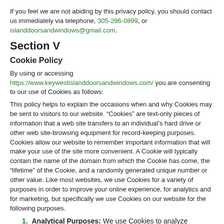If you feel we are not abiding by this privacy policy, you should contact us immediately via telephone, 305-296-0899, or islanddoorsandwindows@gmail.com.
Section V
Cookie Policy
By using or accessing https://www.keywestislanddoorsandwindows.com/ you are consenting to our use of Cookies as follows:
This policy helps to explain the occasions when and why Cookies may be sent to visitors to our website. “Cookies” are text-only pieces of information that a web site transfers to an individual’s hard drive or other web site-browsing equipment for record-keeping purposes. Cookies allow our website to remember important information that will make your use of the site more convenient. A Cookie will typically contain the name of the domain from which the Cookie has come, the “lifetime” of the Cookie, and a randomly generated unique number or other value. Like most websites, we use Cookies for a variety of purposes in order to improve your online experience, for analytics and for marketing, but specifically we use Cookies on our website for the following purposes.
1. Analytical Purposes: We use Cookies to analyze activity in our website. For example,